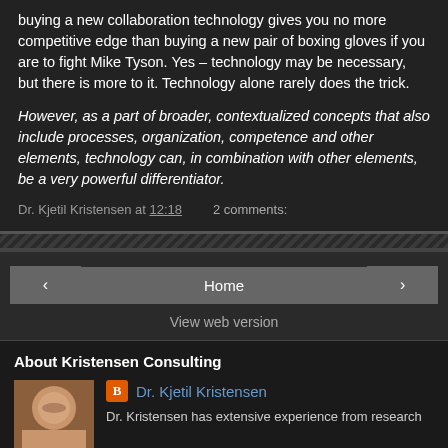buying a new collaboration technology gives you no more competitive edge than buying a new pair of boxing gloves if you are to fight Mike Tyson. Yes – technology may be necessary, but there is more to it. Technology alone rarely does the trick.
However, as a part of broader, contextualized concepts that also include processes, organization, competence and other elements, technology can, in combination with other elements, be a very powerful differentiator.
Dr. Kjetil Kristensen at 12:18   2 comments:
Home
View web version
About Kristensen Consulting
Dr. Kjetil Kristensen
Dr. Kristensen has extensive experience from research